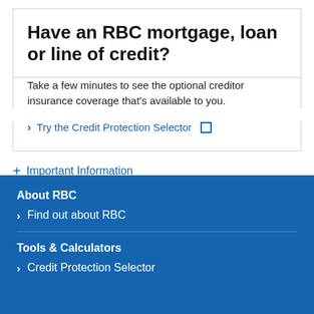Have an RBC mortgage, loan or line of credit?
Take a few minutes to see the optional creditor insurance coverage that's available to you.
> Try the Credit Protection Selector
+ Important Information
About RBC
> Find out about RBC
Tools & Calculators
> Credit Protection Selector